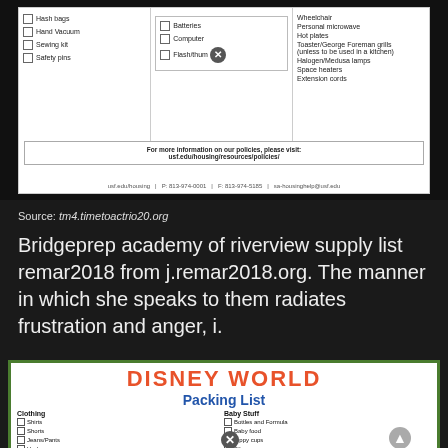[Figure (screenshot): Screenshot of a USF Housing packing/policy list with checkboxes for items like Hand Vacuum, Sewing kit, Safety pins, Computer, Flash/thumb drive, and prohibited items. Bottom bar shows contact info: usf.edu/housing | P: 813-974-0001 | F: 813-974-5185 | sa-housinghelp@usf.edu]
Source: tm4.timetoactrio20.org
Bridgeprep academy of riverview supply list remar2018 from j.remar2018.org. The manner in which she speaks to them radiates frustration and anger, i.
[Figure (screenshot): Disney World Packing List. Clothing section: Shirts, Shorts, Jeans/Pants, Underwear, Socks, Pajamas, Belts, Walking shoes (2 pairs), Sandals, Swimsuit, Water Shoes. Baby Stuff section: Bottles and Formula, Baby food, Sippy cups, Bibs, Burp Cloths & Bibs, Disposable Placemats, Diapers and Swim diapers, Baby wipes, Diaper bag, Pacifiers, Stroller.]